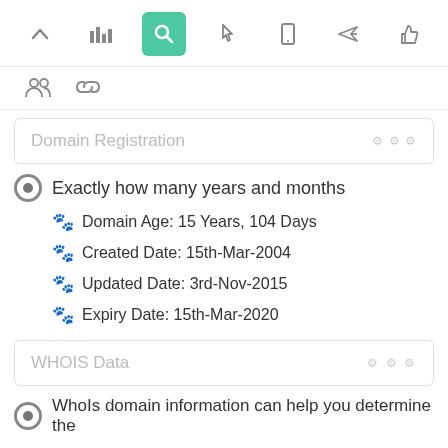[Figure (screenshot): Top toolbar with icons: up arrow, bar chart, search (active/highlighted green), pointer, mobile, send, thumbs up]
[Figure (screenshot): Second toolbar row with people/group icon and link icon]
Domain Registration
Exactly how many years and months
Domain Age: 15 Years, 104 Days
Created Date: 15th-Mar-2004
Updated Date: 3rd-Nov-2015
Expiry Date: 15th-Mar-2020
WHOIS Data
WhoIs domain information can help you determine the